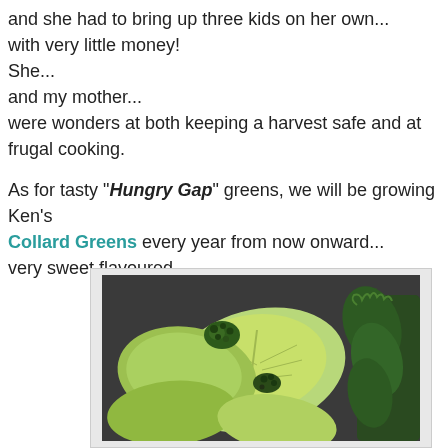and she had to bring up three kids on her own... with very little money! She... and my mother... were wonders at both keeping a harvest safe and at frugal cooking.

As for tasty "Hungry Gap" greens, we will be growing Ken's Collard Greens every year from now onward... very sweet flavoured...
[Figure (photo): Photograph of collard greens and kale vegetables laid out on a dark surface, showing large pale-green leaves and darker leafy greens.]